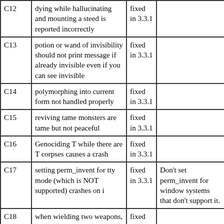| ID | Description | Status | Notes |
| --- | --- | --- | --- |
| C12 | dying while hallucinating and mounting a steed is reported incorrectly | fixed in 3.3.1 |  |
| C13 | potion or wand of invisibility should not print message if already invisible even if you can see invisible | fixed in 3.3.1 |  |
| C14 | polymorphing into current form not handled properly | fixed in 3.3.1 |  |
| C15 | reviving tame monsters are tame but not peaceful | fixed in 3.3.1 |  |
| C16 | Genociding T while there are T corpses causes a crash | fixed in 3.3.1 |  |
| C17 | setting perm_invent for tty mode (which is NOT supported) crashes on i | fixed in 3.3.1 | Don't set perm_invent for window systems that don't support it. |
| C18 | when wielding two weapons, ) only shows one | fixed in 3.3.1 |  |